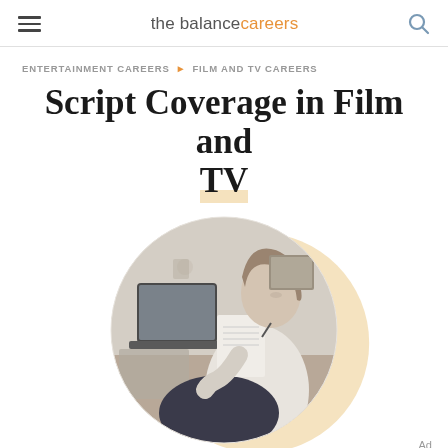the balance careers
ENTERTAINMENT CAREERS ► FILM AND TV CAREERS
Script Coverage in Film and TV
[Figure (photo): A woman sitting casually, reading a paper script, with a laptop visible in the background. Photo is displayed in a circular crop with a warm beige circular background accent. Three navigation dots appear at the bottom of the image.]